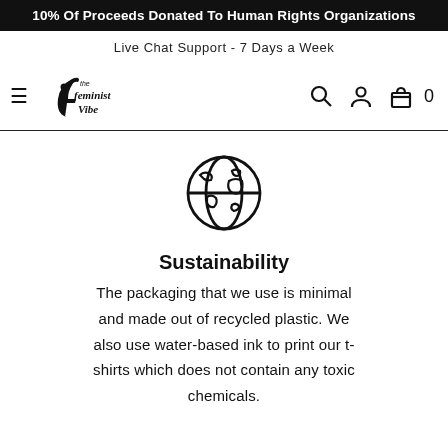10% Of Proceeds Donated To Human Rights Organizations
Live Chat Support - 7 Days a Week
[Figure (logo): The Feminist Vibe logo with hamburger menu icon and navigation icons (search, account, cart) on the right]
[Figure (illustration): Globe/Earth icon with outline drawing style]
Sustainability
The packaging that we use is minimal and made out of recycled plastic. We also use water-based ink to print our t-shirts which does not contain any toxic chemicals.